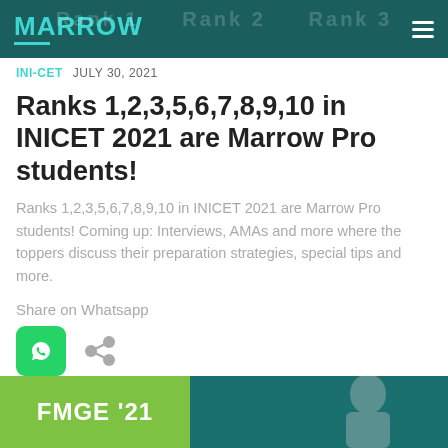MARROW
INI-CET  JULY 30, 2021
Ranks 1,2,3,5,6,7,8,9,10 in INICET 2021 are Marrow Pro students!
Ranks 1,2,3,5,6,7,8,9,10 in INICET 2021 are Marrow Pro students! Coming up: Interviews, AMAs and more where the toppers discuss their preparation strategies, special tips and more.
Share on Whatsapp
[Figure (other): WhatsApp share icon (green rounded square) and a generic share icon]
[Figure (other): Bottom banner showing FMGE '21 text on green background with a person's photo on teal background]